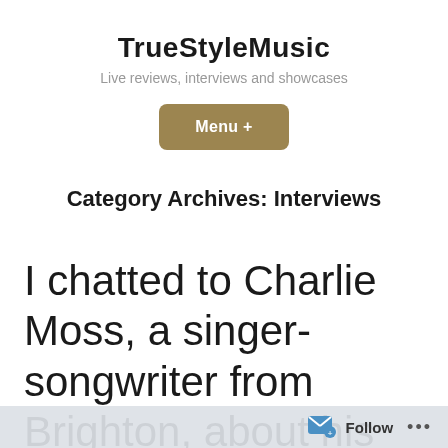TrueStyleMusic
Live reviews, interviews and showcases
Menu +
Category Archives: Interviews
I chatted to Charlie Moss, a singer-songwriter from Brighton, about his latest
Follow ...